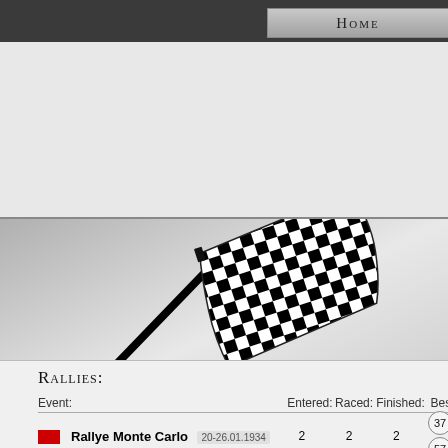Home
[Figure (illustration): Checkered racing flag waving on a pole, black and white, rendered in a simple vector style on a light grey gradient background]
Rallies:
| Event: | Entered: | Raced: | Finished: | Best |
| --- | --- | --- | --- | --- |
| Rallye Monte Carlo  20-26.01.1934 | 2 | 2 | 2 | 37
57 |